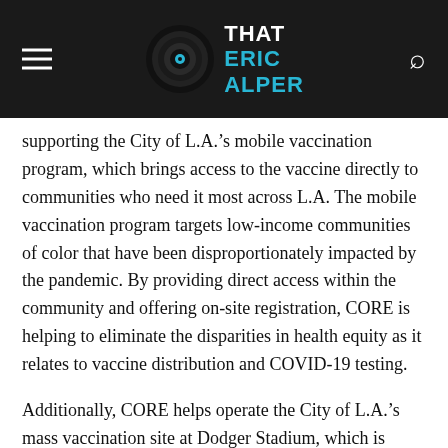THAT ERIC ALPER
supporting the City of L.A.'s mobile vaccination program, which brings access to the vaccine directly to communities who need it most across L.A. The mobile vaccination program targets low-income communities of color that have been disproportionately impacted by the pandemic. By providing direct access within the community and offering on-site registration, CORE is helping to eliminate the disparities in health equity as it relates to vaccine distribution and COVID-19 testing.
Additionally, CORE helps operate the City of L.A.'s mass vaccination site at Dodger Stadium, which is currently serving as the largest vaccination site in the U.S., providing an average of 8,000 vaccines daily, with the capacity to administer more than 12,000 vaccines per day, pending